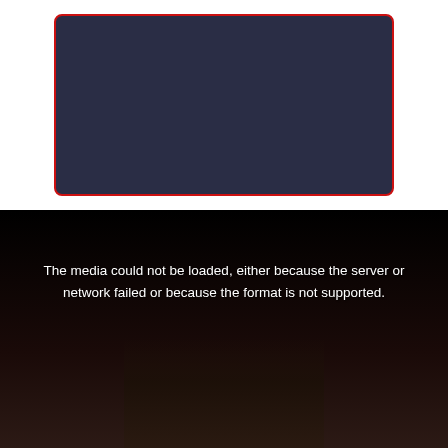[Figure (other): Dark navy-blue rectangular media player box with red border and rounded corners, shown on a white background. The player is empty/blank indicating media failed to load.]
[Figure (other): Dark video player background with error message overlay. Background shows a dark corridor scene barely visible. Error text reads: The media could not be loaded, either because the server or network failed or because the format is not supported.]
The media could not be loaded, either because the server or network failed or because the format is not supported.